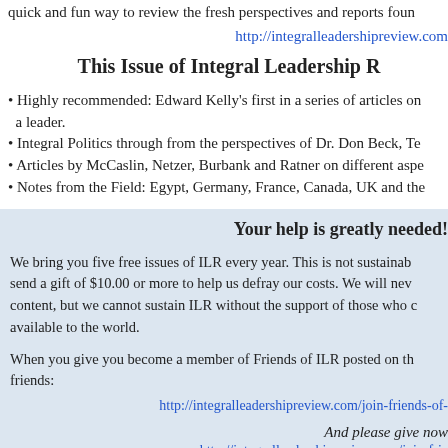quick and fun way to review the fresh perspectives and reports foun
http://integralleadershipreview.com
This Issue of Integral Leadership R
• Highly recommended: Edward Kelly's first in a series of articles on a leader.
• Integral Politics through from the perspectives of Dr. Don Beck, Te
• Articles by McCaslin, Netzer, Burbank and Ratner on different aspe
• Notes from the Field: Egypt, Germany, France, Canada, UK and the
Your help is greatly needed!
We bring you five free issues of ILR every year. This is not sustainab send a gift of $10.00 or more to help us defray our costs. We will ne content, but we cannot sustain ILR without the support of those who available to the world.
When you give you become a member of Friends of ILR posted on th friends:
http://integralleadershipreview.com/join-friends-of-
And please give now
http://integralleadershipreview.com/join-frie